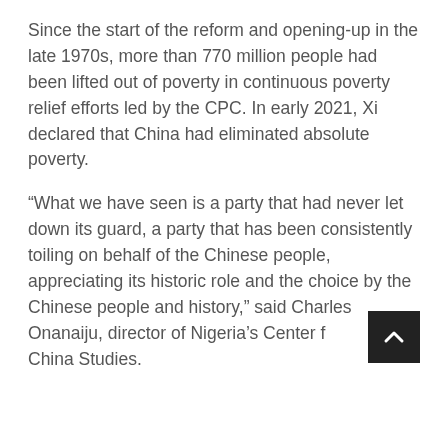Since the start of the reform and opening-up in the late 1970s, more than 770 million people had been lifted out of poverty in continuous poverty relief efforts led by the CPC. In early 2021, Xi declared that China had eliminated absolute poverty.
“What we have seen is a party that had never let down its guard, a party that has been consistently toiling on behalf of the Chinese people, appreciating its historic role and the choice by the Chinese people and history,” said Charles Onanaiju, director of Nigeria’s Center f[or] China Studies.